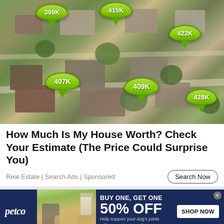[Figure (photo): Aerial view of a suburban neighborhood with green location pin markers showing home prices: 399K (top left), 415K (top center), 422K (top right), 407K (middle left), 409K (center), 428K (right)]
How Much Is My House Worth? Check Your Estimate (The Price Could Surprise You)
Real Estate | Search Ads | Sponsored
[Figure (photo): Petco advertisement banner. Dark navy background. Petco logo on left. Photo of woman with golden retriever dog and supplement bottle. Text: BUY ONE, GET ONE 50% OFF. Help support your dog's joints with a premium supplement. SHOP NOW button.]